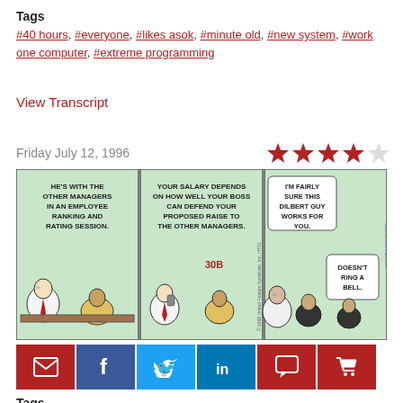Tags
#40 hours, #everyone, #likes asok, #minute old, #new system, #work one computer, #extreme programming
View Transcript
Friday July 12, 1996
[Figure (illustration): Dilbert comic strip with three panels showing characters discussing employee ranking and rating sessions, salary raises, and a manager not recognizing Dilbert.]
[Figure (infographic): Social sharing buttons: email, Facebook, Twitter, LinkedIn, comment, cart]
Tags
#ranking, #rating system, #salary depnds, #bpss, #defends, #managers, #ring a bell